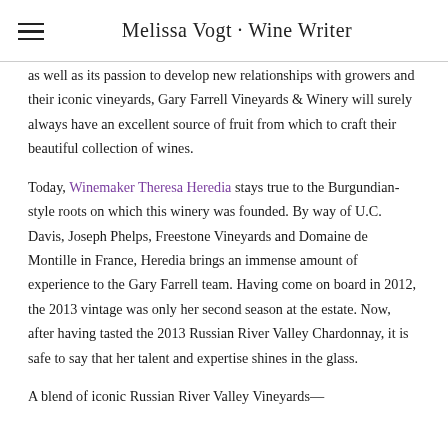Melissa Vogt · Wine Writer
as well as its passion to develop new relationships with growers and their iconic vineyards, Gary Farrell Vineyards & Winery will surely always have an excellent source of fruit from which to craft their beautiful collection of wines.
Today, Winemaker Theresa Heredia stays true to the Burgundian-style roots on which this winery was founded. By way of U.C. Davis, Joseph Phelps, Freestone Vineyards and Domaine de Montille in France, Heredia brings an immense amount of experience to the Gary Farrell team. Having come on board in 2012, the 2013 vintage was only her second season at the estate. Now, after having tasted the 2013 Russian River Valley Chardonnay, it is safe to say that her talent and expertise shines in the glass.
A blend of iconic Russian River Valley Vineyards—